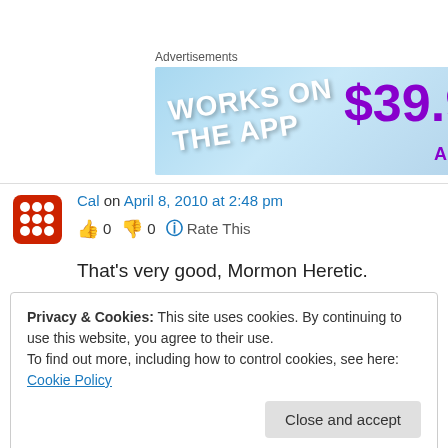[Figure (screenshot): Advertisement banner showing 'WORKS ON THE APP' text and '$39.99' price on blue background]
Cal on April 8, 2010 at 2:48 pm
👍 0 👎 0 ℹ Rate This
That's very good, Mormon Heretic.
Privacy & Cookies: This site uses cookies. By continuing to use this website, you agree to their use.
To find out more, including how to control cookies, see here: Cookie Policy
👍 0 👎 0 ℹ Rate This